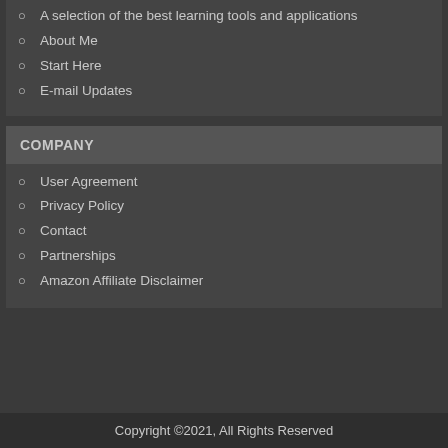A selection of the best learning tools and applications
About Me
Start Here
E-mail Updates
COMPANY
User Agreement
Privacy Policy
Contact
Partnerships
Amazon Affiliate Disclaimer
Copyright ©2021, All Rights Reserved